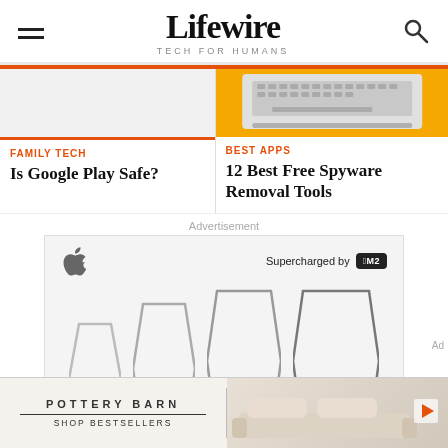Lifewire TECH FOR HUMANS
[Figure (screenshot): Lifewire article thumbnail - light gray placeholder image for 'Is Google Play Safe?' with orange bottom border]
[Figure (screenshot): Lifewire article thumbnail - orange background with laptop keyboard image for '12 Best Free Spyware Removal Tools']
FAMILY TECH
Is Google Play Safe?
BEST APPS
12 Best Free Spyware Removal Tools
Advertisement
[Figure (screenshot): Apple advertisement showing MacBook laptops supercharged by M2 chip - multiple laptops shown as chevron shapes on light gray background with Apple logo and 'Supercharged by M2' text]
[Figure (screenshot): Pottery Barn advertisement with brand name, 'SHOP BESTSELLERS' text, and sofa/living room image with play button overlay]